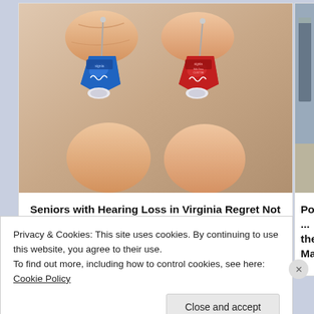[Figure (photo): Two hands holding small hearing aids — one blue (Signia) and one red (Signia) — each held between thumb and forefinger against a neutral background.]
Seniors with Hearing Loss in Virginia Regret Not Knowing This Sooner
[Figure (photo): Partial view of a second article thumbnail showing a room interior with shelves.]
Powerful ... the Marke...
Privacy & Cookies: This site uses cookies. By continuing to use this website, you agree to their use.
To find out more, including how to control cookies, see here: Cookie Policy
Close and accept